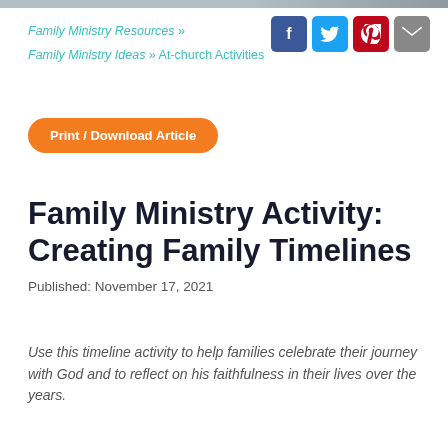Family Ministry Resources » Family Ministry Ideas » At-church Activities
[Figure (other): Social media share icons: Facebook (blue), Twitter (light blue), Pinterest (red), Email (gray)]
Print / Download Article
Family Ministry Activity: Creating Family Timelines
Published: November 17, 2021
Use this timeline activity to help families celebrate their journey with God and to reflect on his faithfulness in their lives over the years.